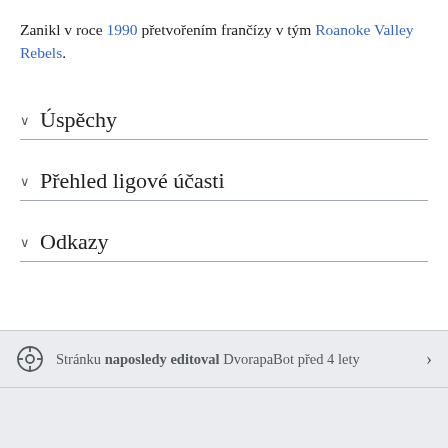Zanikl v roce 1990 přetvořením frančízy v tým Roanoke Valley Rebels.
Úspěchy
Přehled ligové účasti
Odkazy
Stránku naposledy editoval DvorapaBot před 4 lety